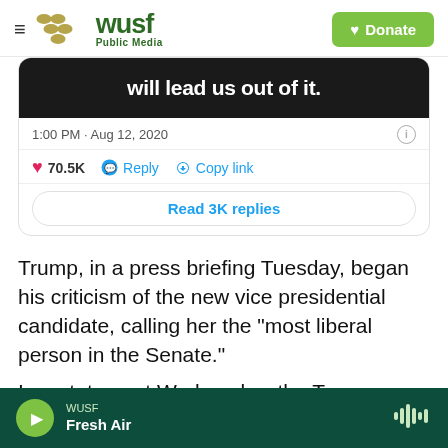WUSF Public Media — Donate
[Figure (screenshot): Partial tweet screenshot showing text 'will lead us out of it.' with timestamp 1:00 PM · Aug 12, 2020, 70.5K likes, Reply, Copy link, and Read 3K replies button]
Trump, in a press briefing Tuesday, began his criticism of the new vice presidential candidate, calling her the "most liberal person in the Senate."
In a statement Wednesday, the Trump campaign blasted Harris for pushing "Biden even farther to
WUSF — Fresh Air (audio player)